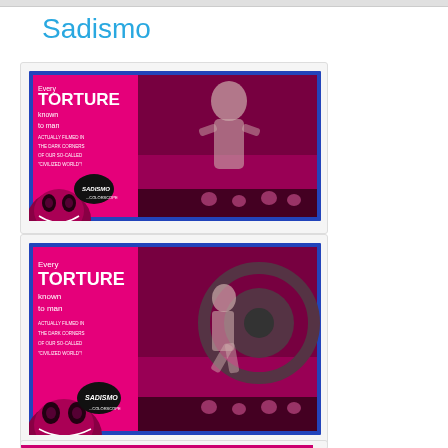Sadismo
[Figure (photo): Movie lobby card for 'Sadismo' in Colorscope. Pink/magenta toned image showing text 'Every TORTURE known to man ACTUALLY FILMED IN THE DARK CORNERS OF OUR SO-CALLED CIVILIZED WORLD!' with a woman figure and monster/skull imagery. Sadismo logo in bottom left.]
[Figure (photo): Second movie lobby card for 'Sadismo' in Colorscope. Similar pink/magenta toned image with same text 'Every TORTURE known to man ACTUALLY FILMED IN THE DARK CORNERS OF OUR SO-CALLED CIVILIZED WORLD!' with different scene showing a person and machinery. Sadismo logo in bottom left.]
[Figure (photo): Third (partially visible) movie lobby card for 'Sadismo', cropped at bottom of page.]